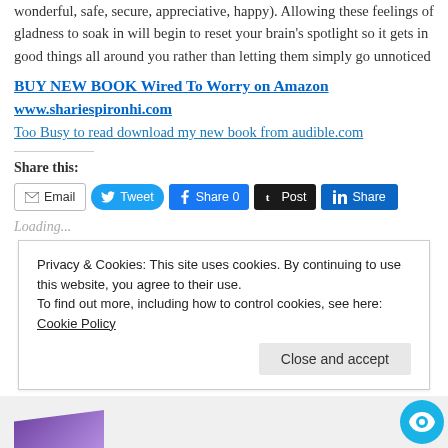wonderful, safe, secure, appreciative, happy). Allowing these feelings of gladness to soak in will begin to reset your brain's spotlight so it gets in good things all around you rather than letting them simply go unnoticed
BUY NEW BOOK Wired To Worry on Amazon
www.shariespironhi.com
Too Busy to read download my new book from audible.com
Share this:
[Figure (screenshot): Social share buttons: Email, Tweet, Share 0 (Facebook), Post (Tumblr), Share (LinkedIn)]
Loading...
Privacy & Cookies: This site uses cookies. By continuing to use this website, you agree to their use. To find out more, including how to control cookies, see here: Cookie Policy
Close and accept